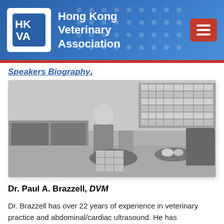Hong Kong Veterinary Association
Speakers Biography.
[Figure (photo): Black and white photo of two people (an adult and a child) sitting together in a lounge area with bookshelves in the background, appearing to play a board game on a round table.]
Dr. Paul A. Brazzell, DVM
Dr. Brazzell has over 22 years of experience in veterinary practice and abdominal/cardiac ultrasound. He has incorporated veterinary ultrasound into general, referral, emergency, and mobile ultrasonography practices and can offer a unique perspective on the